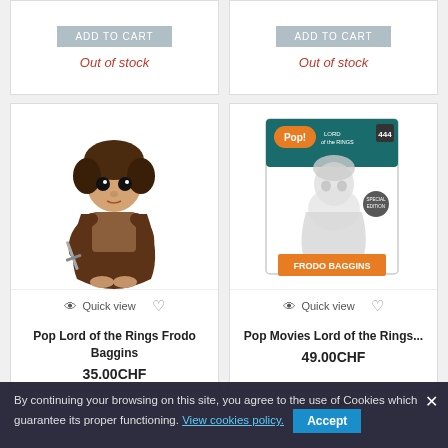[Figure (screenshot): Partial product cards at top showing ADD TO CART buttons and Out of stock labels]
Out of stock
Out of stock
[Figure (photo): Funko Pop figure of Frodo Baggins from Lord of the Rings, standing pose with sword]
Quick view
Quick view
[Figure (photo): Funko Pop Movies Lord of the Rings Frodo Baggins #444 special edition in box, translucent white figure]
Pop Lord of the Rings Frodo Baggins
35.00CHF
Pop Movies Lord of the Rings...
49.00CHF
By continuing your browsing on this site, you agree to the use of Cookies which guarantee its proper functioning. View cookies policy.
Accept
Out of stock
In Stock